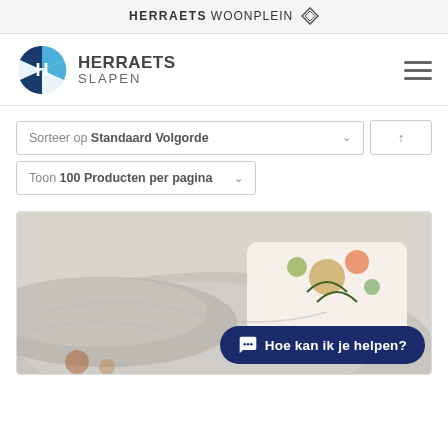HERRAETS WOONPLEIN
[Figure (logo): Herraets Slapen logo with blue circular icon and text]
Sorteer op Standaard Volgorde
Toon 100 Producten per pagina
[Figure (photo): Bed with grey duvet and floral pillow]
Hoe kan ik je helpen?